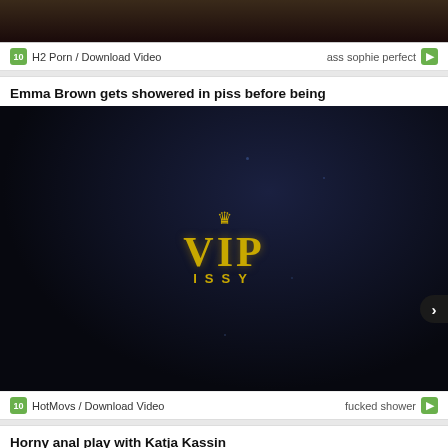[Figure (photo): Cropped top portion of a video thumbnail showing a close-up image]
H2 Porn / Download Video    ass sophie perfect
Emma Brown gets showered in piss before being
[Figure (photo): VIPissy brand video thumbnail — dark background with gold VIP ISSY logo and crown]
HotMovs / Download Video    fucked shower
Horny anal play with Katja Kassin
[Figure (photo): Partially visible video thumbnail at the bottom of the page]